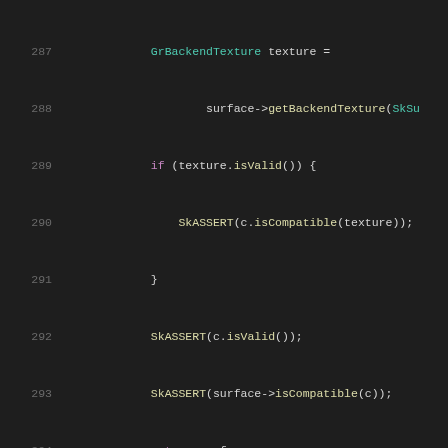Code listing lines 287–307, C++ source code with syntax highlighting
287: GrBackendTexture texture =
288:         surface->getBackendTexture(SkSu
289:     if (texture.isValid()) {
290:         SkASSERT(c.isCompatible(texture));
291:     }
292:     SkASSERT(c.isValid());
293:     SkASSERT(surface->isCompatible(c));
294:     return surface;
295: }
296:
297: #ifdef SK_VULKAN
298:     sk_sp<GrVkSecondaryCBDrawContext> makeVkSCB
299:         const SkSurfaceCharacterization c = thi
300:         SkImageInfo imageInfo = SkImageInfo::Ma
301:
302:         GrVkDrawableInfo vkInfo;
303:         // putting in a bunch of placeholder va
304:         vkInfo.fSecondaryCommandBuffer = (VkCom
305:         vkInfo.fColorAttachmentIndex = 0;
306:         vkInfo.fCompatibleRenderPass = (VkRende
307:         vkInfo.fFormat = VK_FORMAT_R8G8B8A8_UNO